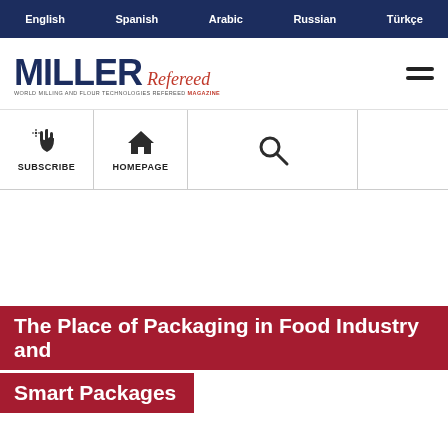English  Spanish  Arabic  Russian  Türkçe
[Figure (logo): MILLER Refereed magazine logo with subtitle text]
[Figure (infographic): Website navigation bar with SUBSCRIBE (hand click icon), HOMEPAGE (house icon), search icon, and an empty fourth column]
The Place of Packaging in Food Industry and Smart Packages